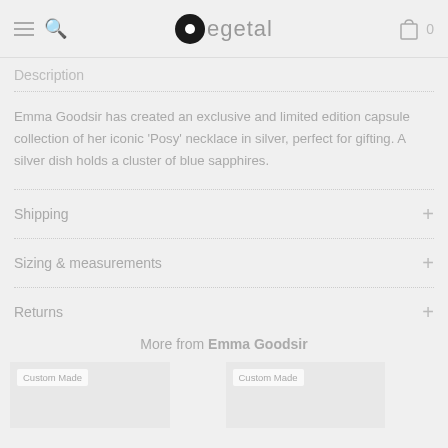egetal — 0
Description
Emma Goodsir has created an exclusive and limited edition capsule collection of her iconic 'Posy' necklace in silver, perfect for gifting. A silver dish holds a cluster of blue sapphires.
Shipping
Sizing & measurements
Returns
More from Emma Goodsir
Custom Made
Custom Made